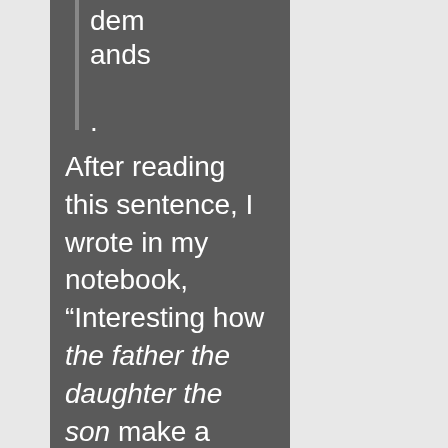dem
ands
.
After reading this sentence, I wrote in my notebook, “Interesting how the father the daughter the son make a singular entity. It